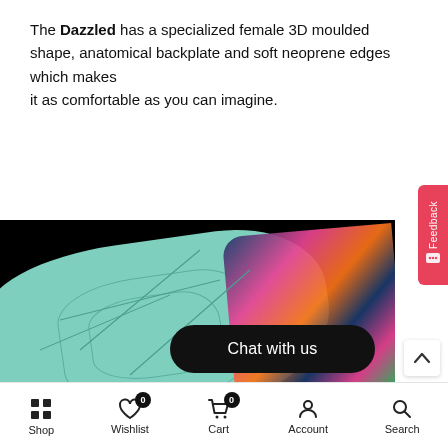The Dazzled has a specialized female 3D moulded shape, anatomical backplate and soft neoprene edges which makes it as comfortable as you can imagine.
[Figure (photo): Close-up product photo of a teal/mint colored 3D moulded backpack backplate with stitching detail, alongside colorful patterned fabric in orange, pink, and blue tones, on a black background.]
Shop  Wishlist 0  Cart 0  Account  Search